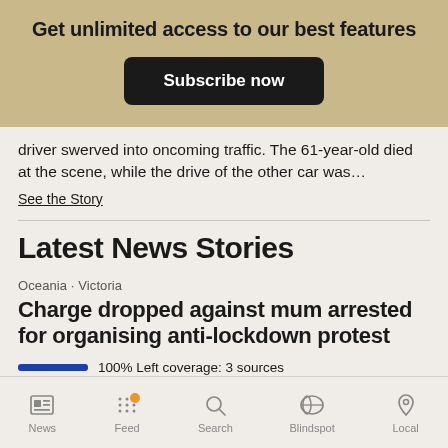Get unlimited access to our best features
Subscribe now
driver swerved into oncoming traffic. The 61-year-old died at the scene, while the drive of the other car was…
See the Story
Latest News Stories
Oceania · Victoria
Charge dropped against mum arrested for organising anti-lockdown protest
100% Left coverage: 3 sources
News  Feed  Search  Blindspot  Local